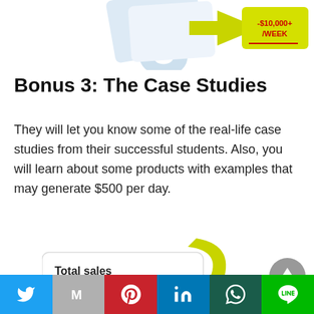[Figure (illustration): Partial view of a marketing image showing a large number '3', a yellow arrow, and a tag reading '-$10,000+/WEEK']
Bonus 3: The Case Studies
They will let you know some of the real-life case studies from their successful students. Also, you will learn about some products with examples that may generate $500 per day.
[Figure (screenshot): Screenshot of a sales dashboard showing 'Total sales' with a value of $455,412.78, with a yellow arrow pointing to it]
[Figure (infographic): Social share bar with Twitter, Gmail, Pinterest, LinkedIn, WhatsApp, and LINE buttons]